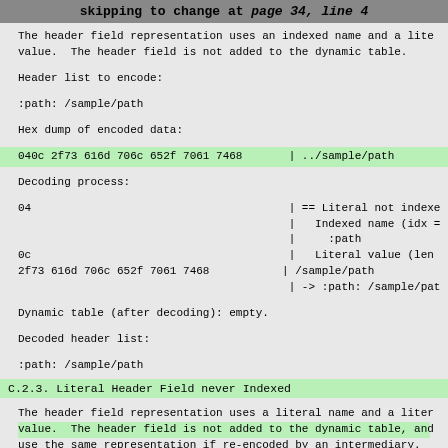skipping to change at page 34, line 4
The header field representation uses an indexed name and a lite
value.  The header field is not added to the dynamic table.
Header list to encode:
:path: /sample/path
Hex dump of encoded data:
040c 2f73 616d 706c 652f 7061 7468       | ../sample/path
Decoding process:
04                                       | == Literal not indexe
                                         |   Indexed name (idx =
                                         |     :path
0c                                       |   Literal value (len
2f73 616d 706c 652f 7061 7468           | /sample/path
                                         | -> :path: /sample/pat
Dynamic table (after decoding): empty.
Decoded header list:
:path: /sample/path
C.2.3.  Literal Header Field never Indexed
The header field representation uses a literal name and a liter
value.  The header field is not added to the dynamic table, and
use the same representation if re-encoded by an intermediary.
Header list to encode:
password: secret